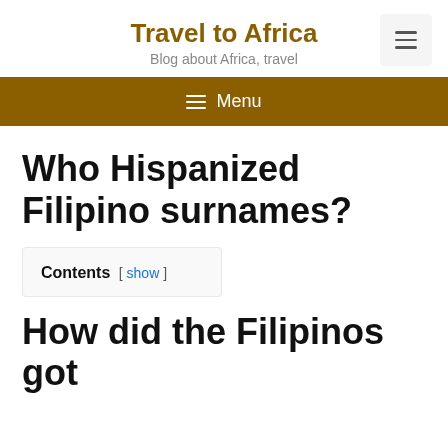Travel to Africa — Blog about Africa, travel
Who Hispanized Filipino surnames?
Contents [ show ]
How did the Filipinos got